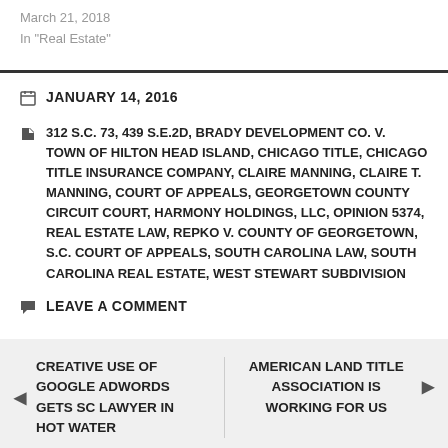March 21, 2018
In "Real Estate"
JANUARY 14, 2016
312 S.C. 73, 439 S.E.2D, BRADY DEVELOPMENT CO. V. TOWN OF HILTON HEAD ISLAND, CHICAGO TITLE, CHICAGO TITLE INSURANCE COMPANY, CLAIRE MANNING, CLAIRE T. MANNING, COURT OF APPEALS, GEORGETOWN COUNTY CIRCUIT COURT, HARMONY HOLDINGS, LLC, OPINION 5374, REAL ESTATE LAW, REPKO V. COUNTY OF GEORGETOWN, S.C. COURT OF APPEALS, SOUTH CAROLINA LAW, SOUTH CAROLINA REAL ESTATE, WEST STEWART SUBDIVISION
LEAVE A COMMENT
CREATIVE USE OF GOOGLE ADWORDS GETS SC LAWYER IN HOT WATER
AMERICAN LAND TITLE ASSOCIATION IS WORKING FOR US